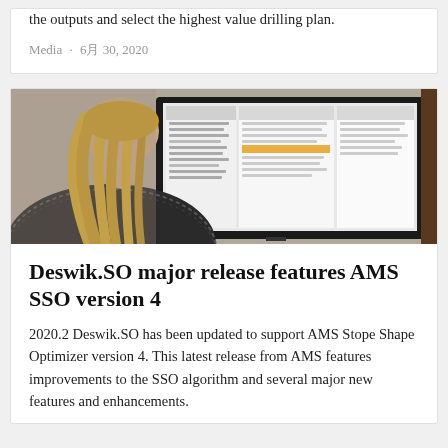the outputs and select the highest value drilling plan.
Media · 6月 30, 2020
[Figure (photo): A person with long blonde hair viewed from behind, sitting in front of a computer monitor displaying a software interface with menus and an orange highlighted row.]
Deswik.SO major release features AMS SSO version 4
2020.2 Deswik.SO has been updated to support AMS Stope Shape Optimizer version 4. This latest release from AMS features improvements to the SSO algorithm and several major new features and enhancements.